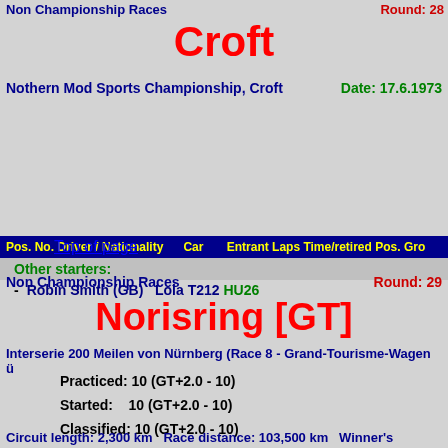Non Championship Races   Round: 28
Croft
Nothern Mod Sports Championship, Croft   Date: 17.6.1973
| Pos. | No. | Driver / Nationality | Car | Entrant | Laps | Time/retired | Pos. | Gro |
| --- | --- | --- | --- | --- | --- | --- | --- | --- |
| Other starters: |  |  |  |  |  |  |  |  |
| - |  | Robin Smith (GB) | Lola T212 HU26 |  |  |  |  |  |
Top of page
Non Championship Races   Round: 29
Norisring [GT]
Interserie 200 Meilen von Nürnberg (Race 8 - Grand-Tourisme-Wagen ü
Practiced: 10 (GT+2.0 - 10)
Started:    10 (GT+2.0 - 10)
Classified: 10 (GT+2.0 - 10)
Circuit length: 2,300 km  Race distance: 103,500 km  Winner's average speed: